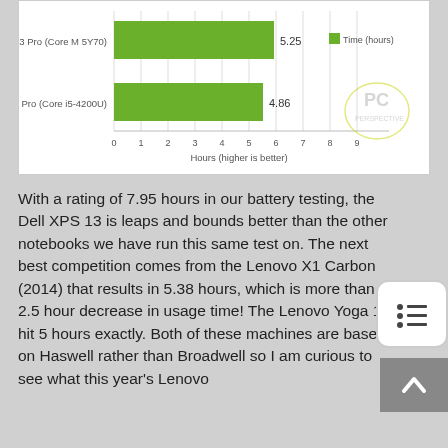[Figure (bar-chart): Battery Life]
With a rating of 7.95 hours in our battery testing, the Dell XPS 13 is leaps and bounds better than the other notebooks we have run this same test on. The next best competition comes from the Lenovo X1 Carbon (2014) that results in 5.38 hours, which is more than a 2.5 hour decrease in usage time! The Lenovo Yoga 13 hit 5 hours exactly. Both of these machines are based on Haswell rather than Broadwell so I am curious to see what this year's Lenovo